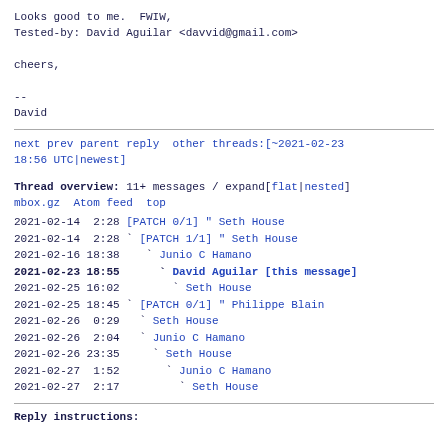Looks good to me.  FWIW,
Tested-by: David Aguilar <davvid@gmail.com>

cheers,

--
David
next prev parent reply  other threads:[~2021-02-23 18:56 UTC|newest]
Thread overview: 11+ messages / expand[flat|nested]
mbox.gz  Atom feed  top
2021-02-14  2:28 [PATCH 0/1] " Seth House
2021-02-14  2:28 ` [PATCH 1/1] " Seth House
2021-02-16 18:38   ` Junio C Hamano
2021-02-23 18:55     ` David Aguilar [this message]
2021-02-25 16:02       ` Seth House
2021-02-25 18:45 ` [PATCH 0/1] " Philippe Blain
2021-02-26  0:29   ` Seth House
2021-02-26  2:04   ` Junio C Hamano
2021-02-26 23:35     ` Seth House
2021-02-27  1:52       ` Junio C Hamano
2021-02-27  2:17         ` Seth House
Reply instructions: